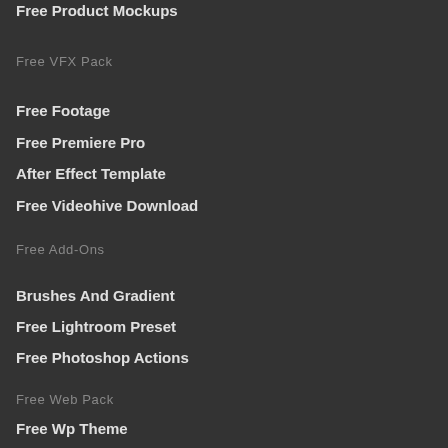Free Product Mockups
Free VFX Pack
Free Footage
Free Premiere Pro
After Effect Template
Free Videohive Download
Free Add-Ons
Brushes And Gradient
Free Lightroom Preset
Free Photoshop Actions
Free Web Pack
Free Wp Theme
Free Wp Plugin
Free HTML Theme